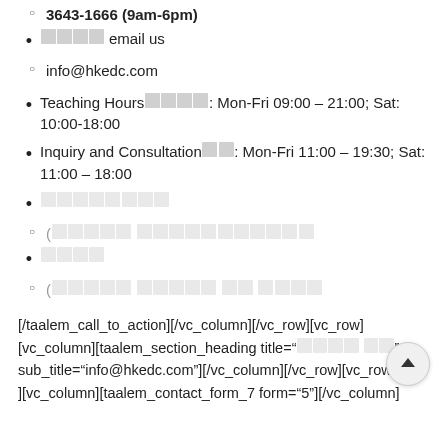3643-1666 (9am-6pm)
[CJK] email us
info@hkedc.com
Teaching Hours[CJK]: Mon-Fri 09:00 – 21:00; Sat: 10:00-18:00
Inquiry and Consultation[CJK]: Mon-Fri 11:00 – 19:30; Sat: 11:00 – 18:00
[CJK characters]
([CJK] [CJK][CJK])
[CJK]
([CJK] [CJK] [CJK] [CJK])
[/taalem_call_to_action][/vc_column][/vc_row][vc_row][vc_column][taalem_section_heading title="[CJK] [CJK]" sub_title="info@hkedc.com"][/vc_column][/vc_row][vc_row][vc_column][taalem_contact_form_7 form="5"][/vc_column]